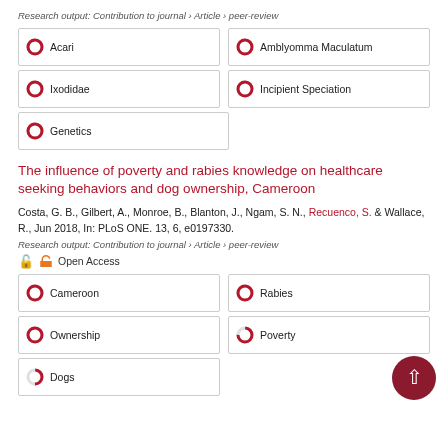Research output: Contribution to journal › Article › peer-review
100% Acari
100% Amblyomma Maculatum
100% Ixodidae
100% Incipient Speciation
100% Genetics
The influence of poverty and rabies knowledge on healthcare seeking behaviors and dog ownership, Cameroon
Costa, G. B., Gilbert, A., Monroe, B., Blanton, J., Ngam, S. N., Recuenco, S. & Wallace, R., Jun 2018, In: PLoS ONE. 13, 6, e0197330.
Research output: Contribution to journal › Article › peer-review
Open Access
100% Cameroon
100% Rabies
100% Ownership
75% Poverty
50% Dogs